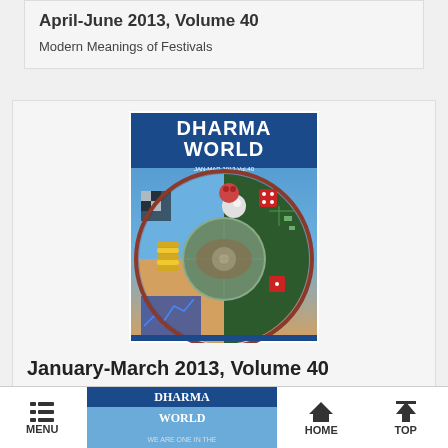April-June 2013, Volume 40
Modern Meanings of Festivals
[Figure (photo): Dharma World magazine cover for January-March 2013, Volume 40, showing a circular mandala-like image with various objects representing materialism and greed against a blue sky background. Text reads 'DHARMA WORLD JAN-MAR 2013 Vol.40']
January-March 2013, Volume 40
Transforming Greed
MENU  HOME  TOP